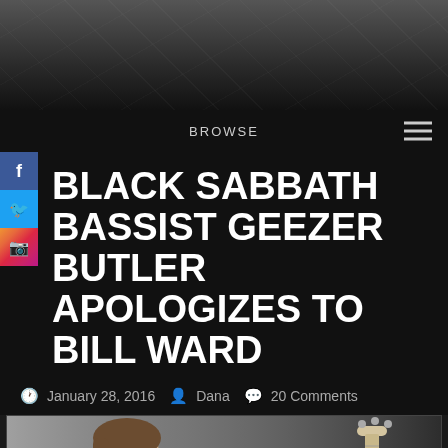[Figure (photo): Website header with dark textured background, scratched metal look]
BROWSE
BLACK SABBATH BASSIST GEEZER BUTLER APOLOGIZES TO BILL WARD
January 28, 2016   Dana   20 Comments
[Figure (photo): Photo of Geezer Butler with long hair and mustache, wearing dark jacket; a guitar amp and bass guitar visible in background]